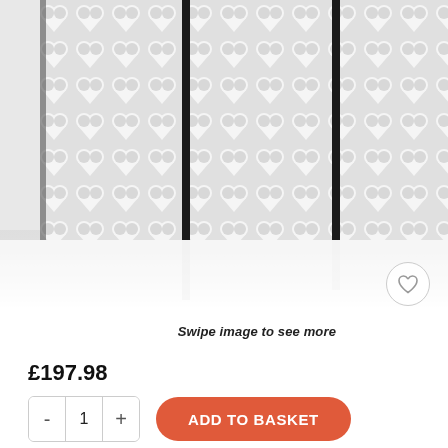[Figure (photo): A decorative room divider/folding screen with a white embossed heart pattern design, shown in a 5-panel configuration with black hinges between panels, reflected on a white glossy floor surface.]
Swipe image to see more
£197.98
- 1 + ADD TO BASKET